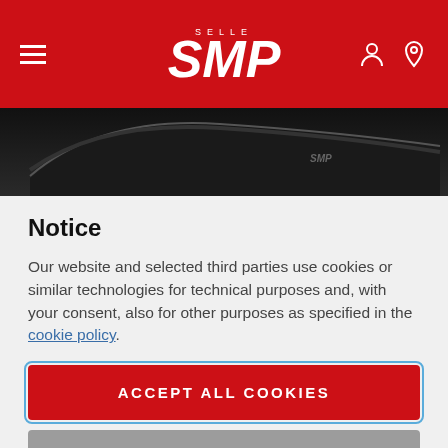SELLE SMP
[Figure (photo): Partial view of a black Selle SMP bicycle saddle against a dark background]
Notice
Our website and selected third parties use cookies or similar technologies for technical purposes and, with your consent, also for other purposes as specified in the cookie policy.
ACCEPT ALL COOKIES
PRIVACY PREFERENCES